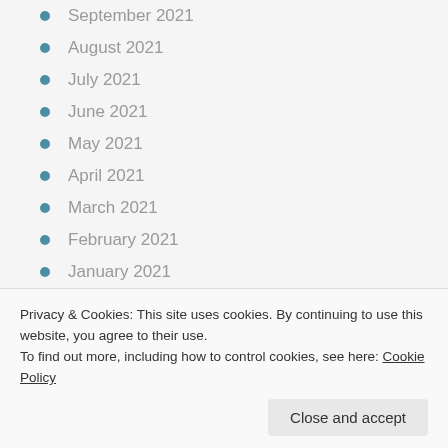September 2021
August 2021
July 2021
June 2021
May 2021
April 2021
March 2021
February 2021
January 2021
December 2020
November 2020
October 2020
September 2020
April 2020
Privacy & Cookies: This site uses cookies. By continuing to use this website, you agree to their use.
To find out more, including how to control cookies, see here: Cookie Policy
Close and accept